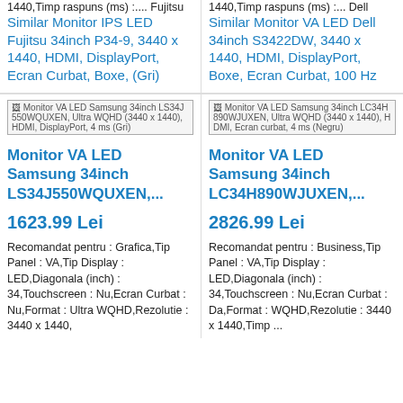1440,Timp raspuns (ms) :... Fujitsu
Similar Monitor IPS LED Fujitsu 34inch P34-9, 3440 x 1440, HDMI, DisplayPort, Ecran Curbat, Boxe, (Gri)
1440,Timp raspuns (ms) :... Dell
Similar Monitor VA LED Dell 34inch S3422DW, 3440 x 1440, HDMI, DisplayPort, Boxe, Ecran Curbat, 100 Hz
[Figure (screenshot): Product image placeholder for Monitor VA LED Samsung 34inch LS34J550WQUXEN]
Monitor VA LED Samsung 34inch LS34J550WQUXEN, Ultra WQHD (3440 x 1440), HDMI, DisplayPort, 4 ms (Gri)
[Figure (screenshot): Product image placeholder for Monitor VA LED Samsung 34inch LC34H890WJUXEN]
Monitor VA LED Samsung 34inch LC34H890WJUXEN, Ultra WQHD (3440 x 1440), HDMI, Ecran curbat, 4 ms (Negru)
Monitor VA LED Samsung 34inch LS34J550WQUXEN,...
1623.99 Lei
Recomandat pentru : Grafica,Tip Panel : VA,Tip Display : LED,Diagonala (inch) : 34,Touchscreen : Nu,Ecran Curbat : Nu,Format : Ultra WQHD,Rezolutie : 3440 x 1440,Timp ...
Monitor VA LED Samsung 34inch LC34H890WJUXEN,...
2826.99 Lei
Recomandat pentru : Business,Tip Panel : VA,Tip Display : LED,Diagonala (inch) : 34,Touchscreen : Nu,Ecran Curbat : Da,Format : WQHD,Rezolutie : 3440 x 1440,Timp ...